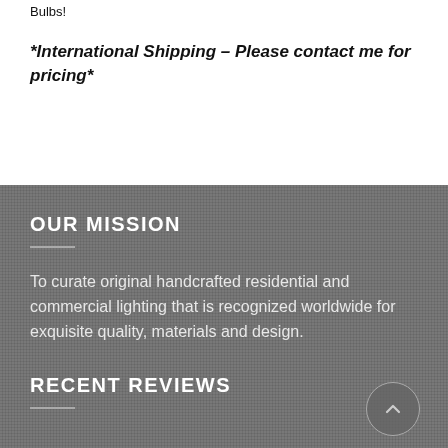Bulbs!
*International Shipping – Please contact me for pricing*
OUR MISSION
To curate original handcrafted residential and commercial lighting that is recognized worldwide for exquisite quality, materials and design.
RECENT REVIEWS